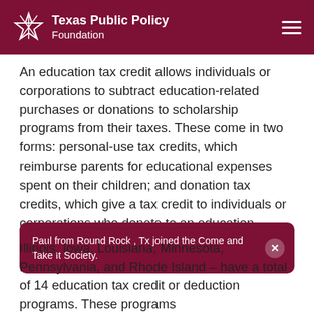Texas Public Policy Foundation
An education tax credit allows individuals or corporations to subtract education-related purchases or donations to scholarship programs from their taxes. These come in two forms: personal-use tax credits, which reimburse parents for educational expenses spent on their children; and donation tax credits, which give a tax credit to individuals or corporations who donate to an education scholarship fund.
Paul from Round Rock , Tx joined the Come and Take It Society.
Illinois, Iowa, Louisiana, Minnesota, Pennsylvania, and Rhode Island – have a total of 14 education tax credit or deduction programs. These programs